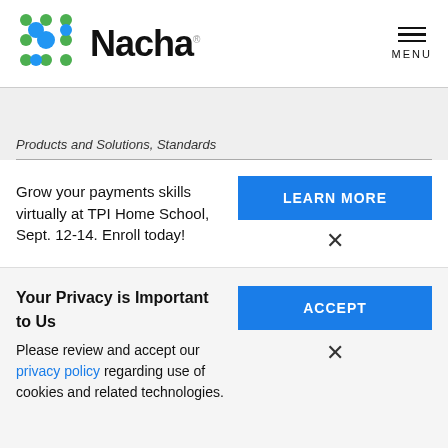Nacha [logo with dots] MENU
Products and Solutions, Standards
Grow your payments skills virtually at TPI Home School, Sept. 12-14. Enroll today!
LEARN MORE
Your Privacy is Important to Us
Please review and accept our privacy policy regarding use of cookies and related technologies.
ACCEPT